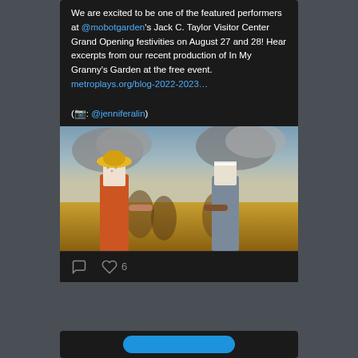We are excited to be one of the featured performers at @mobotgarden's Jack C. Taylor Visitor Center Grand Opening festivities on August 27 and 28! Hear excerpts from our recent production of In My Granny's Garden at the free event. metroplays.org/blog-2022-2023… (📷: @jenniferalin)
[Figure (photo): Two performers on stage in front of a painted backdrop showing clouds, sky, and golden fields. Left performer wears an orange skirt, white patterned top, and yellow hat. Right performer wears grey overalls and white checked shirt with a headband. They are holding hands facing each other.]
6